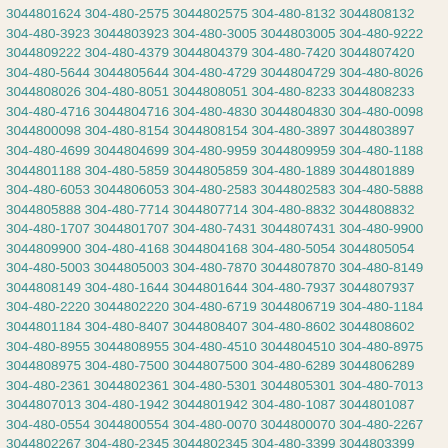3044801624 304-480-2575 3044802575 304-480-8132 3044808132 304-480-3923 3044803923 304-480-3005 3044803005 304-480-9222 3044809222 304-480-4379 3044804379 304-480-7420 3044807420 304-480-5644 3044805644 304-480-4729 3044804729 304-480-8026 3044808026 304-480-8051 3044808051 304-480-8233 3044808233 304-480-4716 3044804716 304-480-4830 3044804830 304-480-0098 3044800098 304-480-8154 3044808154 304-480-3897 3044803897 304-480-4699 3044804699 304-480-9959 3044809959 304-480-1188 3044801188 304-480-5859 3044805859 304-480-1889 3044801889 304-480-6053 3044806053 304-480-2583 3044802583 304-480-5888 3044805888 304-480-7714 3044807714 304-480-8832 3044808832 304-480-1707 3044801707 304-480-7431 3044807431 304-480-9900 3044809900 304-480-4168 3044804168 304-480-5054 3044805054 304-480-5003 3044805003 304-480-7870 3044807870 304-480-8149 3044808149 304-480-1644 3044801644 304-480-7937 3044807937 304-480-2220 3044802220 304-480-6719 3044806719 304-480-1184 3044801184 304-480-8407 3044808407 304-480-8602 3044808602 304-480-8955 3044808955 304-480-4510 3044804510 304-480-8975 3044808975 304-480-7500 3044807500 304-480-6289 3044806289 304-480-2361 3044802361 304-480-5301 3044805301 304-480-7013 3044807013 304-480-1942 3044801942 304-480-1087 3044801087 304-480-0554 3044800554 304-480-0070 3044800070 304-480-2267 3044802267 304-480-2345 3044802345 304-480-3399 3044803399 304-480-5944 3044805944 304-480-3379 3044803379 304-480-6451 3044806451 304-480-4317 3044804317 304-480-7726 3044807726 304-480-9206 3044809206 304-480-9584 3044809584 304-480-9809 3044809809 304-480-1565 3044801565 304-480-8453 3044808453 304-